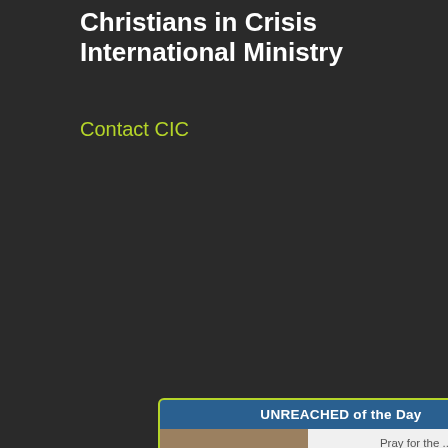Christians in Crisis International Ministry
Contact CIC
[Figure (infographic): UNREACHED of the Day widget showing the Huichol of Mexico. Contains a photo of a smiling woman wearing a pink headscarf, with fields: Population 52,000, Language: Huichol, Religion: Ethnic Religions, Status: Unreached, and an 'I am Praying' button. Footer says: Get Unreached of the Day by email, mobile app, podcast or widget.]